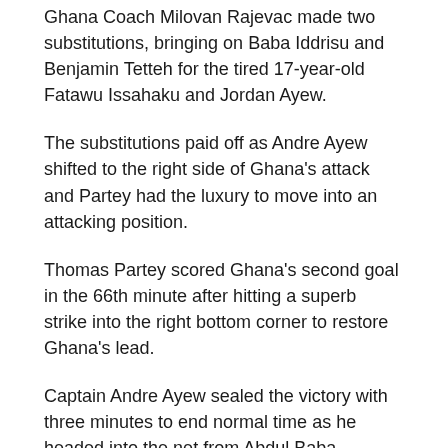Ghana Coach Milovan Rajevac made two substitutions, bringing on Baba Iddrisu and Benjamin Tetteh for the tired 17-year-old Fatawu Issahaku and Jordan Ayew.
The substitutions paid off as Andre Ayew shifted to the right side of Ghana's attack and Partey had the luxury to move into an attacking position.
Thomas Partey scored Ghana's second goal in the 66th minute after hitting a superb strike into the right bottom corner to restore Ghana's lead.
Captain Andre Ayew sealed the victory with three minutes to end normal time as he headed into the net from Abdul Baba Rahman's cross.
Ghana now moves to 6 points and sit second in the Group G table – one point behind leaders South Africa who beat